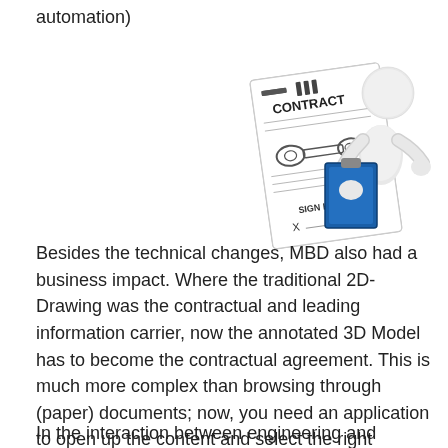automation)
[Figure (illustration): 3D cartoon figure of a white humanoid character holding a clipboard/blue book and reading a large CONTRACT document that shows an engineering drawing with 'SIGN HERE' and an X at the bottom.]
Besides the technical changes, MBD also had a business impact. Where the traditional 2D-Drawing was the contractual and leading information carrier, now the annotated 3D Model has to become the contractual agreement. This is much more complex than browsing through (paper) documents; now, you need an application to open up the content and select the right view(s) or datasets.
In the interaction between engineering and manufacturing,